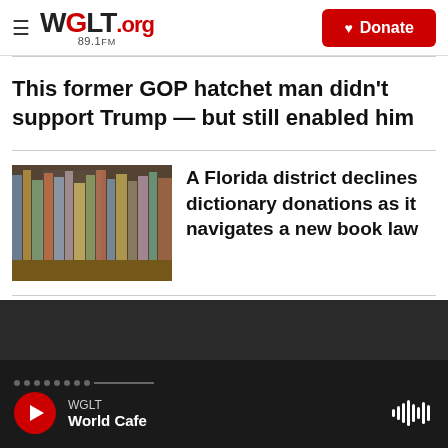[Figure (logo): WGLT.org 89.1FM radio station logo with hamburger menu and red Donate button]
This former GOP hatchet man didn't support Trump — but still enabled him
[Figure (photo): Blurred photo of library books on a shelf]
A Florida district declines dictionary donations as it navigates a new book law
WGLT — World Cafe